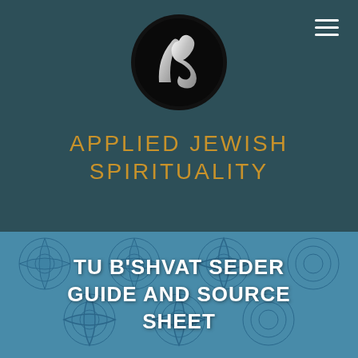[Figure (logo): Applied Jewish Spirituality logo - silver stylized letters on black circle background]
APPLIED JEWISH SPIRITUALITY
[Figure (illustration): Blue decorative tile/mandala pattern background image]
TU B'SHVAT SEDER GUIDE AND SOURCE SHEET